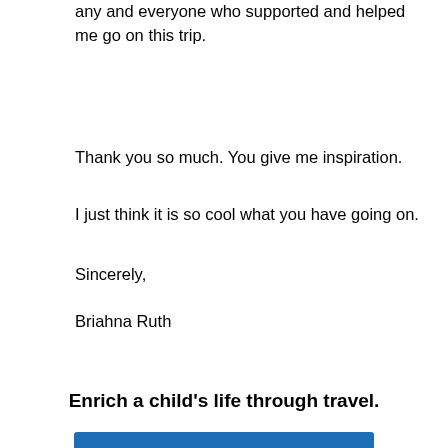any and everyone who supported and helped me go on this trip.
Thank you so much. You give me inspiration.
I just think it is so cool what you have going on.
Sincerely,
Briahna Ruth
Enrich a child's life through travel.
[Figure (other): Blue donate button with white text reading Donate!]